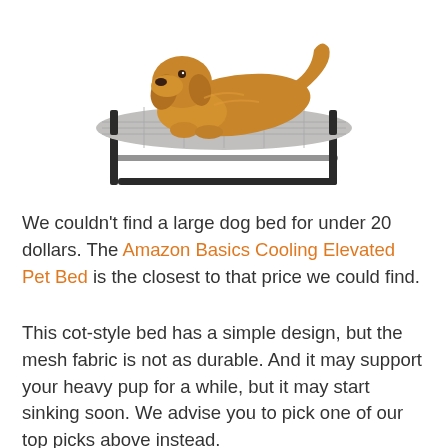[Figure (photo): A golden retriever dog lying on an elevated cot-style pet bed with a grey mesh fabric surface and black metal legs.]
We couldn’t find a large dog bed for under 20 dollars. The Amazon Basics Cooling Elevated Pet Bed is the closest to that price we could find.
This cot-style bed has a simple design, but the mesh fabric is not as durable. And it may support your heavy pup for a while, but it may start sinking soon. We advise you to pick one of our top picks above instead.